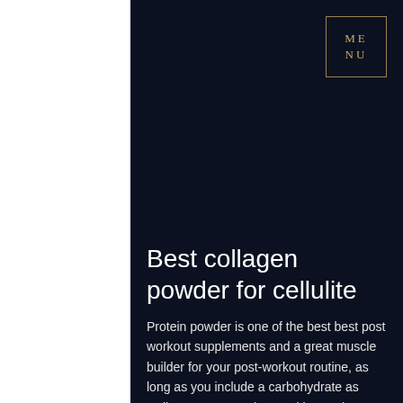[Figure (logo): MENU text in a gold-bordered box, top right corner of dark navy background]
Best collagen powder for cellulite
Protein powder is one of the best best post workout supplements and a great muscle builder for your post-workout routine, as long as you include a carbohydrate as well. My own experience with protein powder is quite